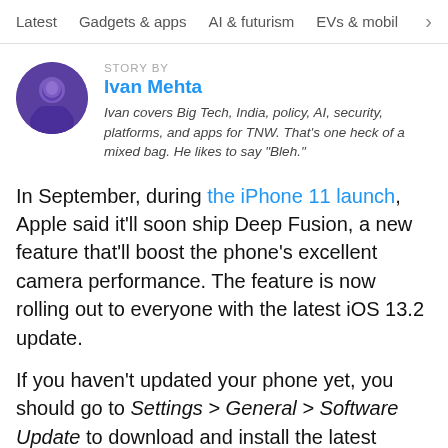Latest   Gadgets & apps   AI & futurism   EVs & mobil  >
STORY BY
Ivan Mehta
Ivan covers Big Tech, India, policy, AI, security, platforms, and apps for TNW. That's one heck of a mixed bag. He likes to say "Bleh."
In September, during the iPhone 11 launch, Apple said it'll soon ship Deep Fusion, a new feature that'll boost the phone's excellent camera performance. The feature is now rolling out to everyone with the latest iOS 13.2 update.
If you haven't updated your phone yet, you should go to Settings > General > Software Update to download and install the latest version.